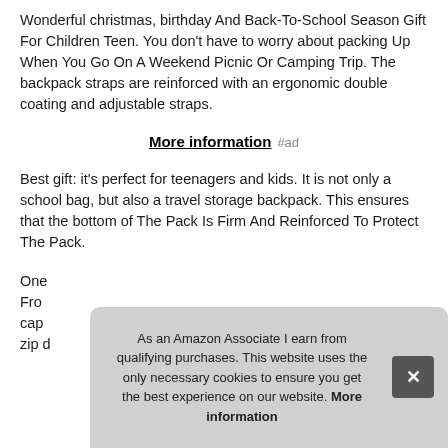Wonderful christmas, birthday And Back-To-School Season Gift For Children Teen. You don't have to worry about packing Up When You Go On A Weekend Picnic Or Camping Trip. The backpack straps are reinforced with an ergonomic double coating and adjustable straps.
More information #ad
Best gift: it's perfect for teenagers and kids. It is not only a school bag, but also a travel storage backpack. This ensures that the bottom of The Pack Is Firm And Reinforced To Protect The Pack.
One... Fro... cap... zip d...
As an Amazon Associate I earn from qualifying purchases. This website uses the only necessary cookies to ensure you get the best experience on our website. More information